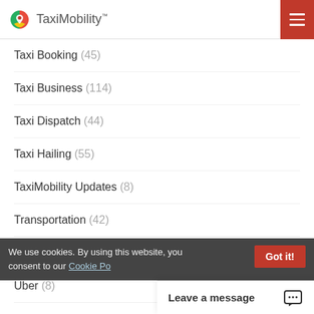TaxiMobility
Taxi Booking (45)
Taxi Business (114)
Taxi Dispatch (44)
Taxi Hailing (55)
TaxiMobility Updates (8)
Transportation (42)
Travel (15)
Uber (8)
Uncategorized (11)
We use cookies. By using this website, you consent to our Cookie Po...
Leave a message